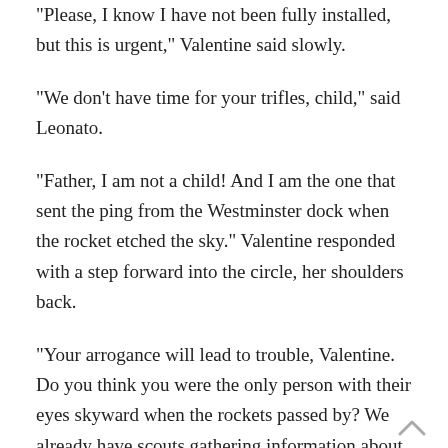“Please, I know I have not been fully installed, but this is urgent,” Valentine said slowly.
“We don’t have time for your trifles, child,” said Leonato.
“Father, I am not a child! And I am the one that sent the ping from the Westminster dock when the rocket etched the sky.” Valentine responded with a step forward into the circle, her shoulders back.
“Your arrogance will lead to trouble, Valentine. Do you think you were the only person with their eyes skyward when the rockets passed by? We already have scouts gathering information about the landing and what the Polity are after. And you have already been warned not to interfere with our work until you are fully installed. Perhaps the responsibility is too great for you.”